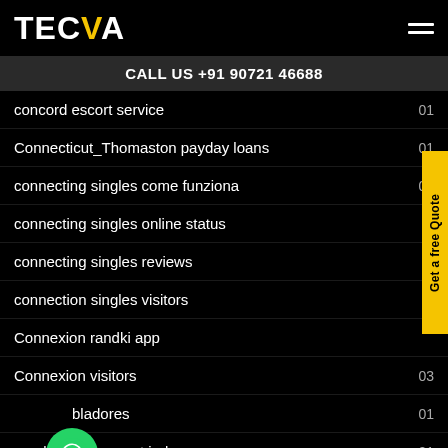TECVA
CALL US +91 90721 46688
concord escort service  01
Connecticut_Thomaston payday loans  01
connecting singles come funziona  01
connecting singles online status
connecting singles reviews
connection singles visitors
Connexion randki app
Connexion visitors  03
Co__oladores  01
coral springs escort index  01